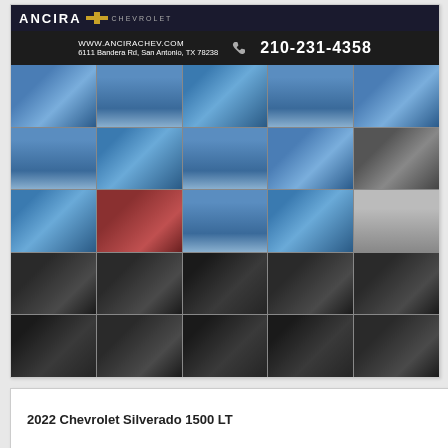[Figure (photo): Ancira Chevrolet dealership advertisement showing dealer header banner with logo, website www.ancirachev.com, address 6111 Bandera Rd, San Antonio, TX 78238, phone 210-231-4358, and a 5x5 grid of photos showing a blue 2022 Chevrolet Silverado 1500 truck from multiple exterior and interior angles]
2022 Chevrolet Silverado 1500 LT